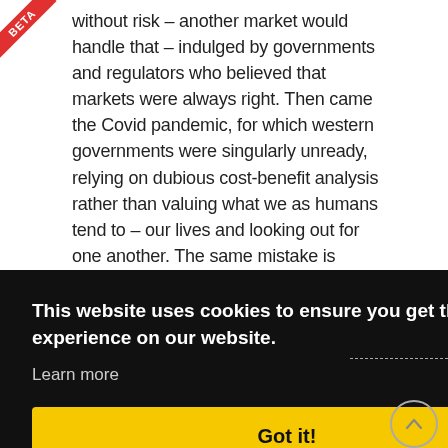without risk – another market would handle that – indulged by governments and regulators who believed that markets were always right. Then came the Covid pandemic, for which western governments were singularly unready, relying on dubious cost-benefit analysis rather than valuing what we as humans tend to – our lives and looking out for one another. The same mistake is being made with climate change.
Continue reading...
This website uses cookies to ensure you get the best experience on our website.
Learn more
Got it!